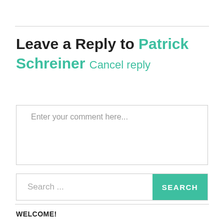Leave a Reply to Patrick Schreiner Cancel reply
Enter your comment here...
Search ...
WELCOME!